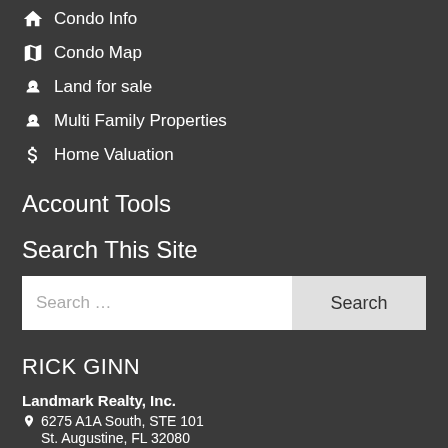Condo Info
Condo Map
Land for sale
Multi Family Properties
Home Valuation
Account Tools
Search This Site
Search ...
RICK GINN
Landmark Realty, Inc.
6275 A1A South, STE 101
St. Augustine, FL 32080